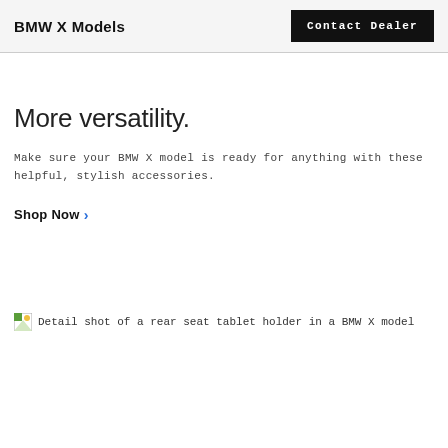BMW X Models
Contact Dealer
More versatility.
Make sure your BMW X model is ready for anything with these helpful, stylish accessories.
Shop Now ›
[Figure (photo): Detail shot of a rear seat tablet holder in a BMW X model (broken/placeholder image shown)]